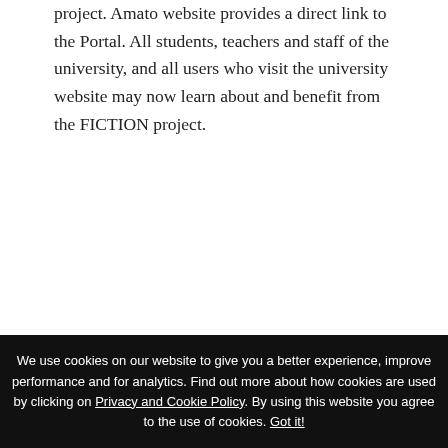project. Amato website provides a direct link to the Portal. All students, teachers and staff of the university, and all users who visit the university website may now learn about and benefit from the FICTION project.
[Figure (screenshot): Screenshot of the NICCOLÒ MACHIAVELLI university website showing the ERASMUS FICTION portal page with navigation sidebar and main content area.]
Machiavelli
Machiavelli is a partner in the Fiction
We use cookies on our website to give you a better experience, improve performance and for analytics. Find out more about how cookies are used by clicking on Privacy and Cookie Policy. By using this website you agree to the use of cookies. Got it!